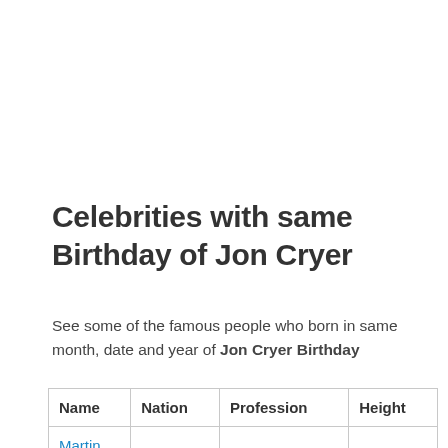Celebrities with same Birthday of Jon Cryer
See some of the famous people who born in same month, date and year of Jon Cryer Birthday
| Name | Nation | Profession | Height |
| --- | --- | --- | --- |
| Martin |  |  |  |